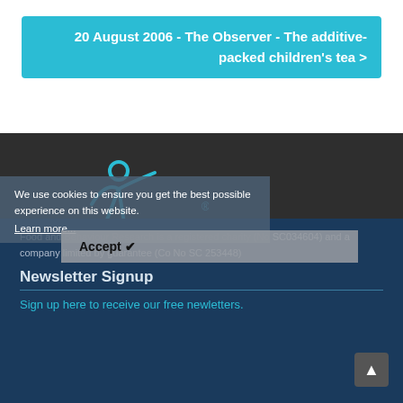20 August 2006 - The Observer - The additive-packed children's tea >
[Figure (logo): FAB logo - stylized figure with arms outstretched and 'FAB' text in teal/blue on dark background]
Food and Behaviour Research is a registered charity (No SC034604) and a company limited by guarantee (Co No SC 253448)
We use cookies to ensure you get the best possible experience on this website.
Learn more...
Newsletter Signup
Sign up here to receive our free newletters.